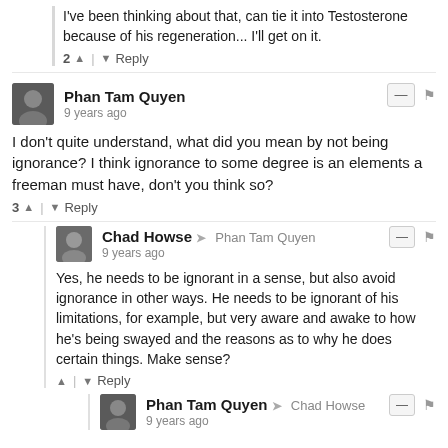I've been thinking about that, can tie it into Testosterone because of his regeneration... I'll get on it.
2  ^  |  v  Reply
Phan Tam Quyen
9 years ago
I don't quite understand, what did you mean by not being ignorance? I think ignorance to some degree is an elements a freeman must have, don't you think so?
3  ^  |  v  Reply
Chad Howse → Phan Tam Quyen
9 years ago
Yes, he needs to be ignorant in a sense, but also avoid ignorance in other ways. He needs to be ignorant of his limitations, for example, but very aware and awake to how he's being swayed and the reasons as to why he does certain things. Make sense?
^  |  v  Reply
Phan Tam Quyen → Chad Howse
9 years ago